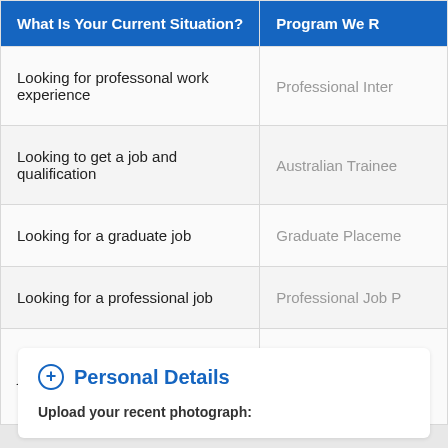| What Is Your Current Situation? | Program We R |
| --- | --- |
| Looking for professonal work experience | Professional Inter |
| Looking to get a job and qualification | Australian Trainee |
| Looking for a graduate job | Graduate Placeme |
| Looking for a professional job | Professional Job P |
| Looking for a casual or part-time job for income | Casual Job Placem |
Personal Details
Upload your recent photograph: